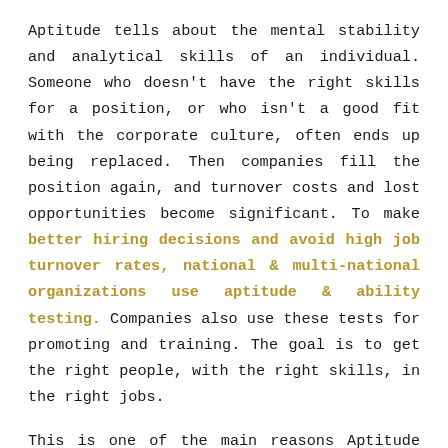Aptitude tells about the mental stability and analytical skills of an individual. Someone who doesn't have the right skills for a position, or who isn't a good fit with the corporate culture, often ends up being replaced. Then companies fill the position again, and turnover costs and lost opportunities become significant. To make better hiring decisions and avoid high job turnover rates, national & multi-national organizations use aptitude & ability testing. Companies also use these tests for promoting and training. The goal is to get the right people, with the right skills, in the right jobs.
This is one of the main reasons Aptitude Test is conducted by majority of the companies for recruitment. At PIBM we have a special team of Aptitude Experts to train & develop students'